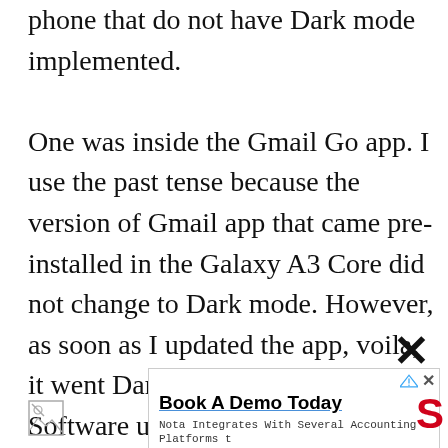phone that do not have Dark mode implemented.

One was inside the Gmail Go app. I use the past tense because the version of Gmail app that came pre-installed in the Galaxy A3 Core did not change to Dark mode. However, as soon as I updated the app, voila, it went Dark. The other is the Software update page. It is still white as I type this. But I am nitpicking. That menu is obscure and will not be seen often.
[Figure (other): Close (X) button for dismissing an element]
[Figure (screenshot): Advertisement banner: Book A Demo Today - Nota Integrates With Several Accounting Platforms to Simplify Legal Banking. Open button.]